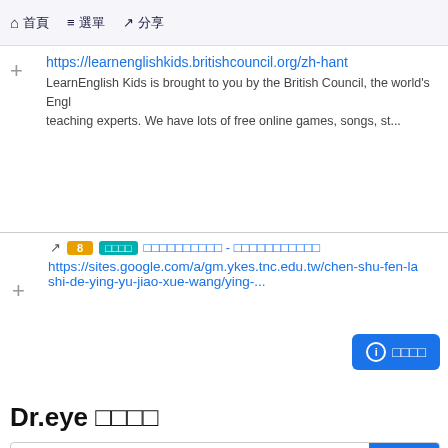🏠 首頁  ≡ 選單  ↗ 分享
https://learnenglishkids.britishcouncil.org/zh-hant
LearnEnglish Kids is brought to you by the British Council, the world's English language teaching experts. We have lots of free online games, songs, st...
8 [tag] □□□□□□□□□□ - □□□□□□□□□□□
https://sites.google.com/a/gm.ykes.tnc.edu.tw/chen-shu-fen-la shi-de-ying-yu-jiao-xue-wang/ying-...
ℹ □□□□
Dr.eye □□□□
□□□□□□□□□□□□
□□□
登入 Login
□□□□□□English learning resource
□□□□